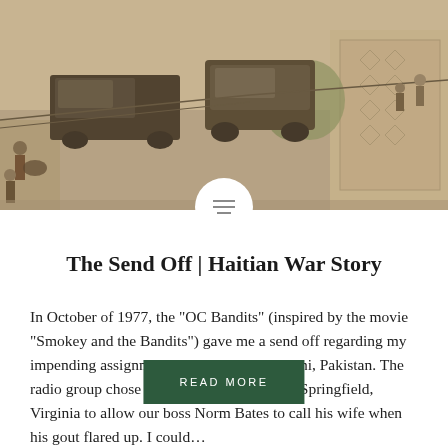[Figure (photo): Sepia-toned photograph of a street scene with vehicles including trucks and an SUV, pedestrians on sidewalks, buildings and utility lines visible. Appears to be a developing-world urban street setting.]
The Send Off | Haitian War Story
In October of 1977, the “OC Bandits” (inspired by the movie “Smokey and the Bandits”) gave me a send off regarding my impending assignment at Am Consul Karachi, Pakistan. The radio group chose the pizza restaurant near Springfield, Virginia to allow our boss Norm Bates to call his wife when his gout flared up. I could…
READ MORE